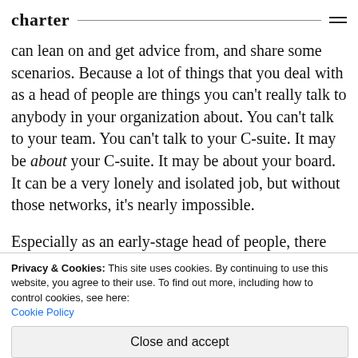charter
can lean on and get advice from, and share some scenarios. Because a lot of things that you deal with as a head of people are things you can't really talk to anybody in your organization about. You can't talk to your team. You can't talk to your C-suite. It may be about your C-suite. It may be about your board. It can be a very lonely and isolated job, but without those networks, it's nearly impossible.
Especially as an early-stage head of people, there will be many things you've never encountered, like
Privacy & Cookies: This site uses cookies. By continuing to use this website, you agree to their use. To find out more, including how to control cookies, see here: Cookie Policy
Close and accept